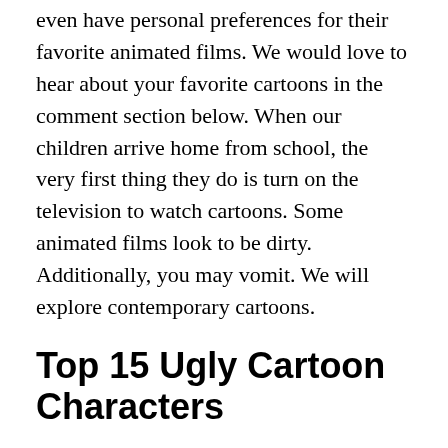even have personal preferences for their favorite animated films. We would love to hear about your favorite cartoons in the comment section below. When our children arrive home from school, the very first thing they do is turn on the television to watch cartoons. Some animated films look to be dirty. Additionally, you may vomit. We will explore contemporary cartoons.
Top 15 Ugly Cartoon Characters
We'll look at 15 distinct cartoons in this article. They have an unattractive and uninspired look. What are the contents of these cartoons? Perhaps you believe we will inform you? The titles of 15 offensive cartoons are listed below. We'll take a closer look at each of these cartoons